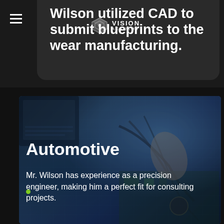Wilson utilized CAD to submit blueprints to the wear manufacturing.
[Figure (photo): Person working on electronic circuit board with cables, laptop in background]
Automotive
Mr. Wilson has experience as a precision engineer, making him a perfect fit for consulting projects.